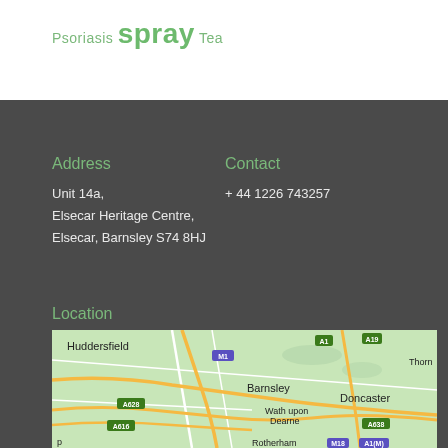Psoriasis Spray Tea
Address
Unit 14a,
Elsecar Heritage Centre,
Elsecar, Barnsley S74 8HJ
Contact
+ 44 1226 743257
Location
[Figure (map): Google Maps showing Huddersfield, Barnsley, Doncaster, Wath upon Dearne area in Yorkshire, UK. Shows motorways M1, M18, A1(M) and A-roads A628, A616, A638, A19.]